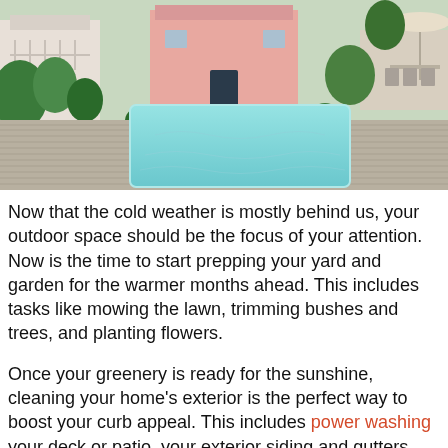[Figure (photo): Outdoor rectangular swimming pool with clear turquoise water surrounded by a wooden deck. A pink house with stairs is visible in the background, along with green trees and shrubbery. Patio furniture with an umbrella is visible on the right side.]
Now that the cold weather is mostly behind us, your outdoor space should be the focus of your attention. Now is the time to start prepping your yard and garden for the warmer months ahead. This includes tasks like mowing the lawn, trimming bushes and trees, and planting flowers.
Once your greenery is ready for the sunshine, cleaning your home's exterior is the perfect way to boost your curb appeal. This includes power washing your deck or patio, your exterior siding and gutters, and touching u...